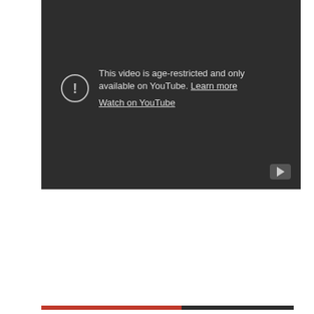[Figure (screenshot): YouTube embedded video player showing age-restriction message on dark background. Message reads: 'This video is age-restricted and only available on YouTube. Learn more' with a 'Watch on YouTube' link below. A play button icon is visible at the bottom right of the player.]
Privacy & Cookies: This site uses cookies. By continuing to use this website, you agree to their use.
To find out more, including how to control cookies, see here: Cookie Policy
Close and accept